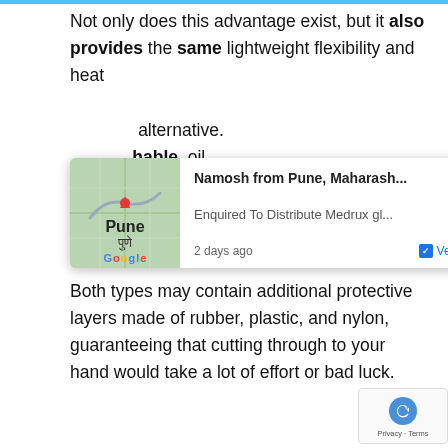Not only does this advantage exist, but it also provides the same lightweight flexibility and heat a[...] alternative. s[...] hable, oil and grease repellant.
[Figure (other): Popup notification: Map showing Pune, Maharashtra. Title: 'Namosh from Pune, Maharash...' Subtitle: 'Enquired To Distribute Medrux gl...' Time: '2 days ago'. 'Verified by Provely' badge with checkbox icon.]
Both types may contain additional protective layers made of rubber, plastic, and nylon, guaranteeing that cutting through to your hand would take a lot of effort or bad luck.
Bottom line:
Compared to disposable oil-resistant gloves, these reusable types may have a significant disadvantage because they are too expensive.